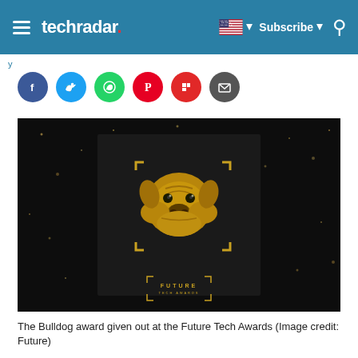techradar
[Figure (screenshot): Social media share buttons: Facebook (blue), Twitter (light blue), WhatsApp (green), Pinterest (red), Flipboard (red), Email (dark gray)]
[Figure (photo): A gold bulldog head award trophy mounted on a dark/black background with golden corner bracket markers and 'FUTURE' text logo at the bottom center. Sparkling bokeh light effects in the background.]
The Bulldog award given out at the Future Tech Awards (Image credit: Future)